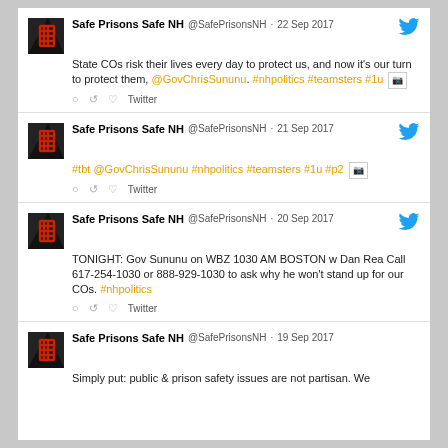Safe Prisons Safe NH @SafePrisonsNH · 22 Sep 2017 — State COs risk their lives every day to protect us, and now it's our turn to protect them, @GovChrisSununu. #nhpolitics #teamsters #1u
Safe Prisons Safe NH @SafePrisonsNH · 21 Sep 2017 — #tbt @GovChrisSununu #nhpolitics #teamsters #1u #p2
Safe Prisons Safe NH @SafePrisonsNH · 20 Sep 2017 — TONIGHT: Gov Sununu on WBZ 1030 AM BOSTON w Dan Rea Call 617-254-1030 or 888-929-1030 to ask why he won't stand up for our COs. #nhpolitics
Safe Prisons Safe NH @SafePrisonsNH · 19 Sep 2017 — Simply put: public & prison safety issues are not partisan. We